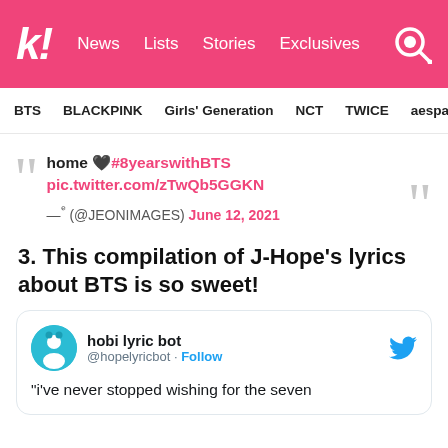k! News Lists Stories Exclusives
BTS BLACKPINK Girls' Generation NCT TWICE aespa
home 🖤#8yearswithBTS pic.twitter.com/zTwQb5GGKN — ᵉ (@JEONIMAGES) June 12, 2021
3. This compilation of J-Hope's lyrics about BTS is so sweet!
hobi lyric bot @hopelyricbot · Follow
"i've never stopped wishing for the seven